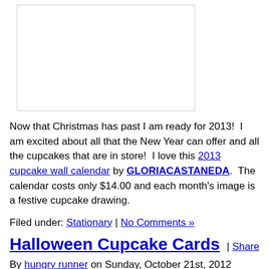[Figure (photo): Image placeholder box at top of page]
Now that Christmas has past I am ready for 2013!  I am excited about all that the New Year can offer and all the cupcakes that are in store!  I love this 2013 cupcake wall calendar by GLORIACASTANEDA.  The calendar costs only $14.00 and each month's image is a festive cupcake drawing.
Filed under: Stationary | No Comments »
Halloween Cupcake Cards
By hungry runner on Sunday, October 21st, 2012
[Figure (photo): Thumbnail image at bottom of page]